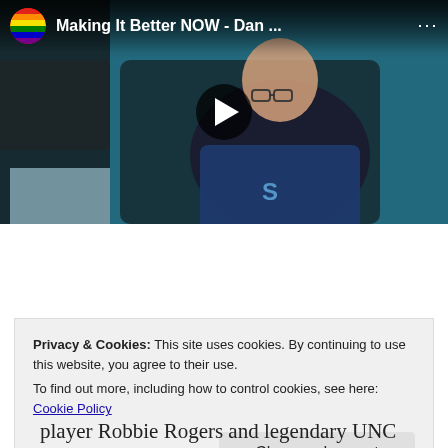[Figure (screenshot): Embedded YouTube video thumbnail showing a man wearing a blue shirt with letter 'S' against a teal/dark background. Video title bar shows 'Making It Better NOW - Dan ...' with a rainbow circle icon and three-dot menu. A play button is centered on the thumbnail.]
(January 2016) I just returned from Baltimore, and the National Soccer Coaches of
Privacy & Cookies: This site uses cookies. By continuing to use this website, you agree to their use.
To find out more, including how to control cookies, see here: Cookie Policy
Close and accept
player Robbie Rogers and legendary UNC